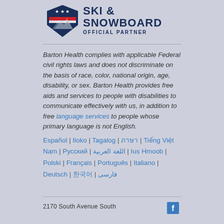[Figure (logo): US Ski & Snowboard Official Partner logo with shield/flag emblem]
Barton Health complies with applicable Federal civil rights laws and does not discriminate on the basis of race, color, national origin, age, disability, or sex. Barton Health provides free aids and services to people with disabilities to communicate effectively with us, in addition to free language services to people whose primary language is not English.
Español | Iloko | Tagalog | ภาษา | Tiếng Việt Nam | Русский | اللغة العربية | Ius Hmoob | Polski | Français | Português | Italiano | Deutsch | 한국어 | فارسی
2170 South Avenue South